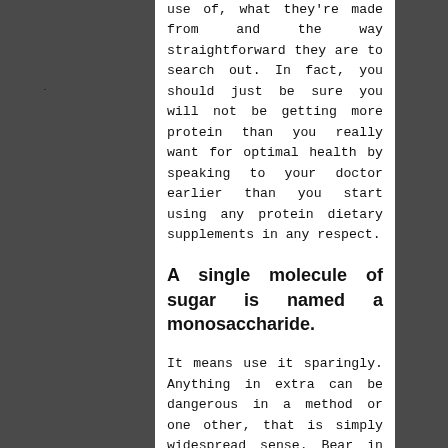use of, what they're made from and the way straightforward they are to search out. In fact, you should just be sure you will not be getting more protein than you really want for optimal health by speaking to your doctor earlier than you start using any protein dietary supplements in any respect.
A single molecule of sugar is named a monosaccharide.
It means use it sparingly. Anything in extra can be dangerous in a method or one other, that is simply widespread sense. Bear in mind, our brains LOVE sugar